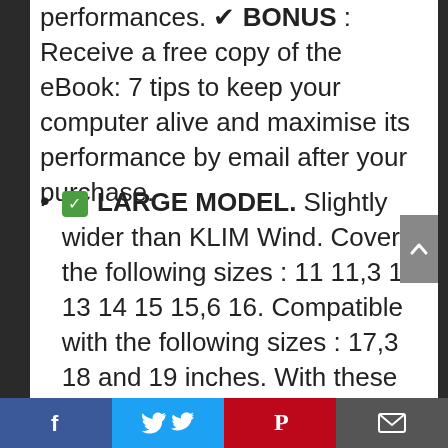performances. ✔ BONUS : Receive a free copy of the eBook: 7 tips to keep your computer alive and maximise its performance by email after your purchase.
✅ LARGE MODEL. Slightly wider than KLIM Wind. Covers the following sizes : 11 11,3 12 13 14 15 15,6 16. Compatible with the following sizes : 17,3 18 and 19 inches. With these sizes, the laptop will extend over the edges of the cooler pad but will remain perfectly stable. KLIM Cyclone itself is extremely stable, it will stay
Facebook | Twitter | Pinterest | Email